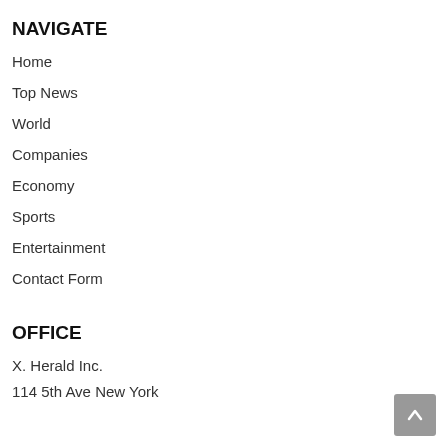NAVIGATE
Home
Top News
World
Companies
Economy
Sports
Entertainment
Contact Form
OFFICE
X. Herald Inc.
114 5th Ave New York